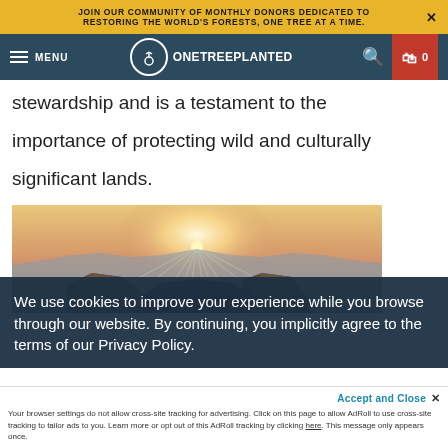JOIN OUR COMMUNITY OF MONTHLY DONORS DEDICATED TO RESTORING THE WORLD'S FORESTS, ONE TREE AT A TIME.
MENU  ONETREEPLANTED  0
stewardship and is a testament to the importance of protecting wild and culturally significant lands.
[Figure (photo): Panoramic photo of a canyon at sunset with sunrays bursting over rocky canyon walls]
We use cookies to improve your experience while you browse through our website. By continuing, you implicitly agree to the terms of our Privacy Policy.
Accept and Close ×
Your browser settings do not allow cross-site tracking for advertising. Click on this page to allow AdRoll to use cross-site tracking to tailor ads to you. Learn more or opt out of this AdRoll tracking by clicking here. This message only appears once.